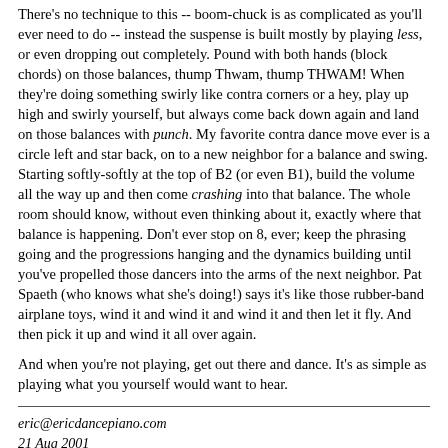There's no technique to this -- boom-chuck is as complicated as you'll ever need to do -- instead the suspense is built mostly by playing less, or even dropping out completely. Pound with both hands (block chords) on those balances, thump Thwam, thump THWAM! When they're doing something swirly like contra corners or a hey, play up high and swirly yourself, but always come back down again and land on those balances with punch. My favorite contra dance move ever is a circle left and star back, on to a new neighbor for a balance and swing. Starting softly-softly at the top of B2 (or even B1), build the volume all the way up and then come crashing into that balance. The whole room should know, without even thinking about it, exactly where that balance is happening. Don't ever stop on 8, ever; keep the phrasing going and the progressions hanging and the dynamics building until you've propelled those dancers into the arms of the next neighbor. Pat Spaeth (who knows what she's doing!) says it's like those rubber-band airplane toys, wind it and wind it and wind it and then let it fly. And then pick it up and wind it all over again.
And when you're not playing, get out there and dance. It's as simple as playing what you yourself would want to hear.
eric@ericdancepiano.com
21 Aug 2001